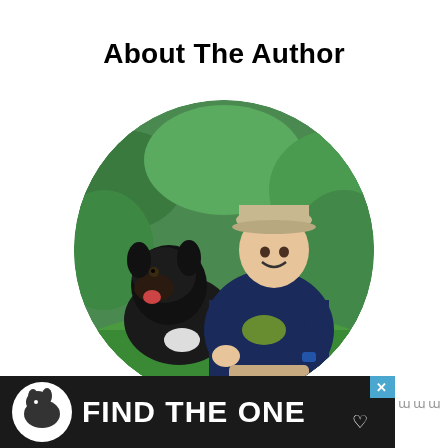About The Author
[Figure (photo): Circular cropped photo of a young man wearing a navy blue Realtree long-sleeve shirt and a tan baseball cap, crouching down beside a large black dog outdoors surrounded by green foliage and grass.]
[Figure (infographic): Advertisement banner with dark background showing a dog icon on the left, bold white text reading 'FIND THE ONE' with a heart symbol, a blue X close button in the upper right, and a small 'w' logo on the far right.]